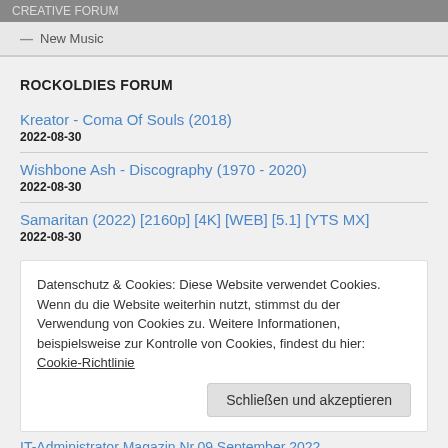CREATIVE FORUM
— New Music
ROCKOLDIES FORUM
Kreator - Coma Of Souls (2018)
2022-08-30
Wishbone Ash - Discography (1970 - 2020)
2022-08-30
Samaritan (2022) [2160p] [4K] [WEB] [5.1] [YTS MX]
2022-08-30
Datenschutz & Cookies: Diese Website verwendet Cookies. Wenn du die Website weiterhin nutzt, stimmst du der Verwendung von Cookies zu. Weitere Informationen, beispielsweise zur Kontrolle von Cookies, findest du hier: Cookie-Richtlinie
Schließen und akzeptieren
IT-Administrator Magazin Nr.09 September 2022